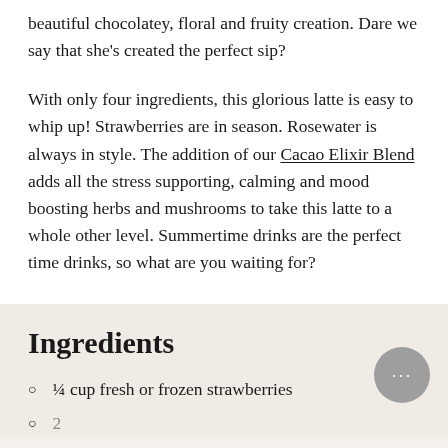beautiful chocolatey, floral and fruity creation. Dare we say that she's created the perfect sip?
With only four ingredients, this glorious latte is easy to whip up! Strawberries are in season. Rosewater is always in style. The addition of our Cacao Elixir Blend adds all the stress supporting, calming and mood boosting herbs and mushrooms to take this latte to a whole other level. Summertime drinks are the perfect time drinks, so what are you waiting for?
Ingredients
¼ cup fresh or frozen strawberries
2 ... (partially visible)